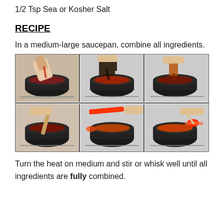1/2 Tsp Sea or Kosher Salt
RECIPE
In a medium-large saucepan, combine all ingredients.
[Figure (photo): Six-panel grid of step-by-step cooking photos showing ingredients being poured and stirred into a saucepan on a stovetop.]
Turn the heat on medium and stir or whisk well until all ingredients are fully combined.